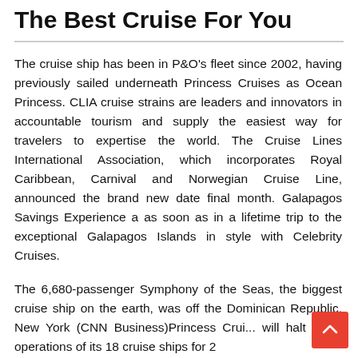The Best Cruise For You
The cruise ship has been in P&O's fleet since 2002, having previously sailed underneath Princess Cruises as Ocean Princess. CLIA cruise strains are leaders and innovators in accountable tourism and supply the easiest way for travelers to expertise the world. The Cruise Lines International Association, which incorporates Royal Caribbean, Carnival and Norwegian Cruise Line, announced the brand new date final month. Galapagos Savings Experience a as soon as in a lifetime trip to the exceptional Galapagos Islands in style with Celebrity Cruises.
The 6,680-passenger Symphony of the Seas, the biggest cruise ship on the earth, was off the Dominican Republic. New York (CNN Business)Princess Crui... will halt world operations of its 18 cruise ships for 2 months after a handful of high-profile incidents.